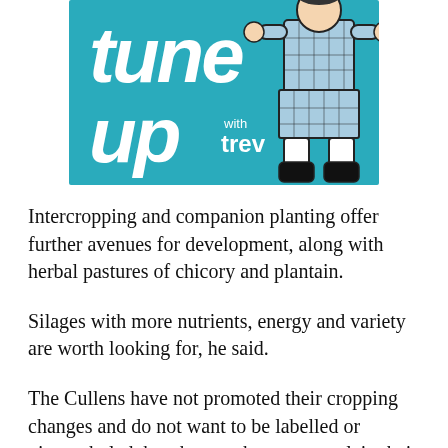[Figure (illustration): Podcast banner with teal/turquoise background reading 'tune up with trev' in white italic script lettering, with a cartoon illustration of a person wearing a kilt and boots on the right side]
Intercropping and companion planting offer further avenues for development, along with herbal pastures of chicory and plantain.
Silages with more nutrients, energy and variety are worth looking for, he said.
The Cullens have not promoted their cropping changes and do not want to be labelled or pigeon-holed, but they are happy to explain their journey to farmers keen to listen.